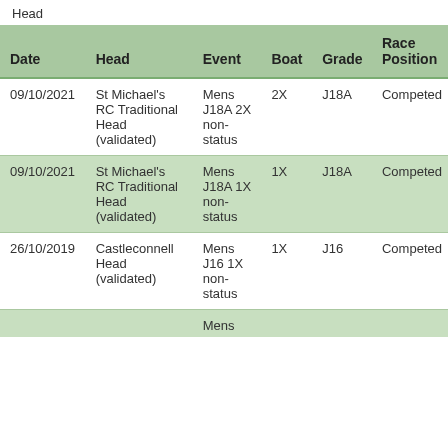Head
| Date | Head | Event | Boat | Grade | Race Position |
| --- | --- | --- | --- | --- | --- |
| 09/10/2021 | St Michael's RC Traditional Head (validated) | Mens J18A 2X non-status | 2X | J18A | Competed |
| 09/10/2021 | St Michael's RC Traditional Head (validated) | Mens J18A 1X non-status | 1X | J18A | Competed |
| 26/10/2019 | Castleconnell Head (validated) | Mens J16 1X non-status | 1X | J16 | Competed |
|  |  | Mens |  |  |  |